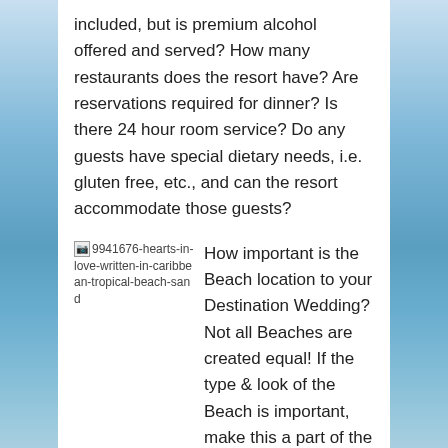included, but is premium alcohol offered and served?  How many restaurants does the resort have?  Are reservations required for dinner?  Is there 24 hour room service?  Do any guests have special dietary needs, i.e. gluten free, etc., and can the resort accommodate those guests?
[Figure (photo): Broken image placeholder with filename: 9941676-hearts-in-love-written-in-caribbean-tropical-beach-sand]
How important is the Beach location to your Destination Wedding?  Not all Beaches are created equal!  If the type & look of the Beach is important, make this a part of the initial search while pricing.  With the ease of working with the internet today, there are so many photos available just by doing a simple search  "picture of